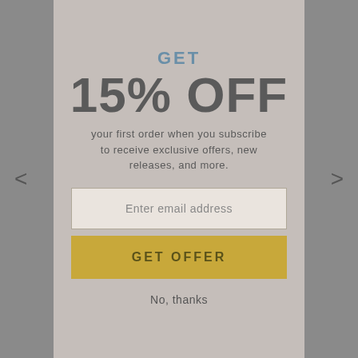[Figure (photo): Background: a person wearing a light pink/beige onesie/loungewear jumpsuit with yellow socks, body visible from chest to feet, overlaid with a semi-transparent modal popup]
GET
15% OFF
your first order when you subscribe to receive exclusive offers, new releases, and more.
Enter email address
GET OFFER
No, thanks